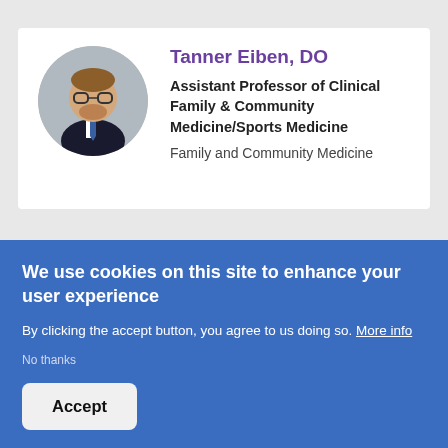[Figure (photo): Circular profile photo of Tanner Eiben, DO — man with glasses and beard wearing a dark suit]
Tanner Eiben, DO
Assistant Professor of Clinical Family & Community Medicine/Sports Medicine
Family and Community Medicine
[Figure (photo): Circular profile photo of Jose Espinosa, MD — partially visible, dark background]
Jose Espinosa, MD
We use cookies on this site to enhance your user experience
By clicking the accept button, you agree to us doing so. More info
No thanks
Accept